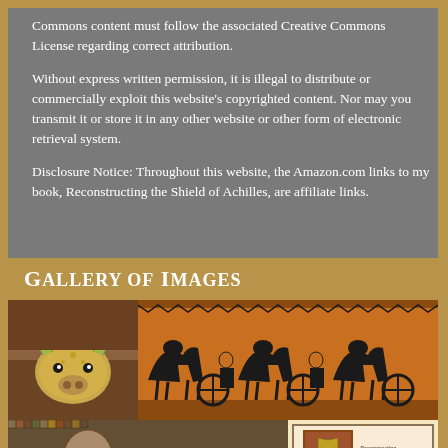Commons content must follow the associated Creative Commons License regarding correct attribution.
Without express written permission, it is illegal to distribute or commercially exploit this website's copyrighted content. Nor may you transmit it or store it in any other website or other form of electronic retrieval system.
Disclosure Notice: Throughout this website, the Amazon.com links to my book, Reconstructing the Shield of Achilles, are affiliate links.
Gallery of Images
[Figure (photo): Gallery of ancient artifacts and artwork: a gold/bronze bull head rhyton, a black-figure Greek vase frieze showing chariots and horses, a mosaic, and a book cover for Reconstructing the Shield of Achilles.]